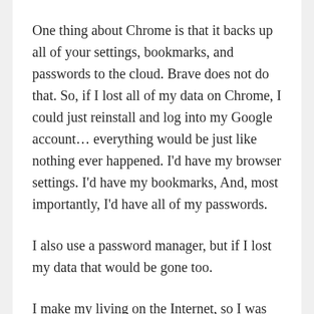One thing about Chrome is that it backs up all of your settings, bookmarks, and passwords to the cloud. Brave does not do that. So, if I lost all of my data on Chrome, I could just reinstall and log into my Google account... everything would be just like nothing ever happened. I'd have my browser settings. I'd have my bookmarks, And, most importantly, I'd have all of my passwords.
I also use a password manager, but if I lost my data that would be gone too.
I make my living on the Internet, so I was pretty worried during the time that it seemed my system had died. I thought I had a good backup strategy in